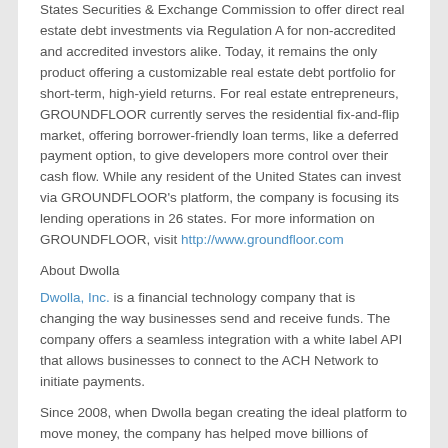States Securities & Exchange Commission to offer direct real estate debt investments via Regulation A for non-accredited and accredited investors alike. Today, it remains the only product offering a customizable real estate debt portfolio for short-term, high-yield returns. For real estate entrepreneurs, GROUNDFLOOR currently serves the residential fix-and-flip market, offering borrower-friendly loan terms, like a deferred payment option, to give developers more control over their cash flow. While any resident of the United States can invest via GROUNDFLOOR's platform, the company is focusing its lending operations in 26 states. For more information on GROUNDFLOOR, visit http://www.groundfloor.com
About Dwolla
Dwolla, Inc. is a financial technology company that is changing the way businesses send and receive funds. The company offers a seamless integration with a white label API that allows businesses to connect to the ACH Network to initiate payments.
Since 2008, when Dwolla began creating the ideal platform to move money, the company has helped move billions of dollars for millions of end-users annually for businesses of all shapes and sizes; in addition, Dwolla has been mentioned in Inc., Forbes and the Wall Street Journal. Businesses that need to